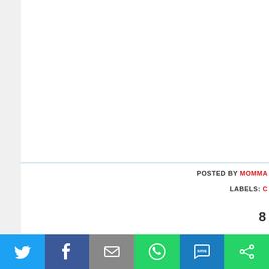POSTED BY MOMMA... LABELS: C...
8
Shelley Zurek -- Still Blonde after all these YEA...
It's always fun to see the "Rest of the Story" p... Cat_Bearding!
Reply
[Figure (infographic): Social sharing bar with Twitter, Facebook, Email, WhatsApp, SMS, and More buttons]